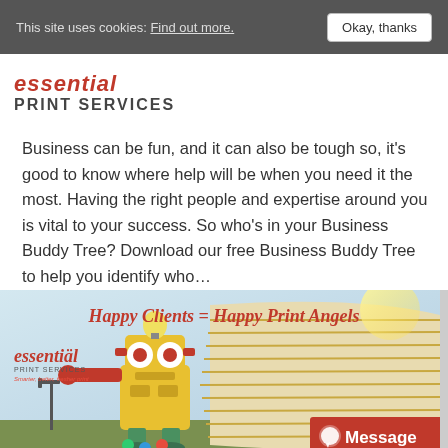This site uses cookies: Find out more. Okay, thanks
essential PRINT SERVICES
Business can be fun, and it can also be tough so, it's good to know where help will be when you need it the most. Having the right people and expertise around you is vital to your success. So who's in your Business Buddy Tree? Download our free Business Buddy Tree to help you identify who…
[Figure (photo): Essential Print Services promotional image with robot mascot, building background, and 'Happy Clients = Happy Print Angels' heading. Includes company logo and Message button.]